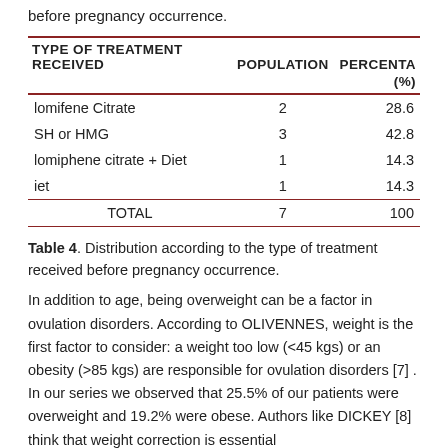before pregnancy occurrence.
| TYPE OF TREATMENT RECEIVED | POPULATION | PERCENTAGE (%) |
| --- | --- | --- |
| lomifene Citrate | 2 | 28.6 |
| SH or HMG | 3 | 42.8 |
| lomiphene citrate + Diet | 1 | 14.3 |
| iet | 1 | 14.3 |
| TOTAL | 7 | 100 |
Table 4. Distribution according to the type of treatment received before pregnancy occurrence.
In addition to age, being overweight can be a factor in ovulation disorders. According to OLIVENNES, weight is the first factor to consider: a weight too low (<45 kgs) or an obesity (>85 kgs) are responsible for ovulation disorders [7] . In our series we observed that 25.5% of our patients were overweight and 19.2% were obese. Authors like DICKEY [8] think that weight correction is essential